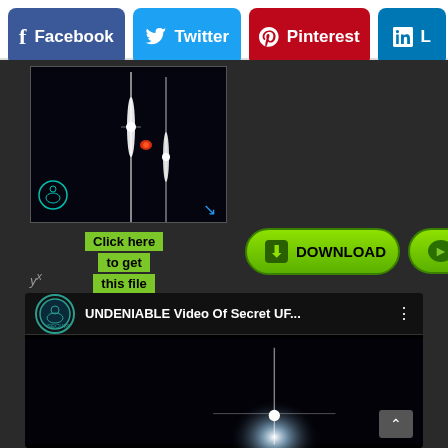[Figure (screenshot): Social media share buttons row: Facebook (blue), Twitter (light blue), Pinterest (red), LinkedIn (blue, partially visible)]
[Figure (photo): Dark night sky thumbnail showing bright star-like lights/lens flares on black background with a red glowing object]
Click here to get this file
yX
[Figure (screenshot): Green DOWNLOAD button with download arrow icon]
[Figure (screenshot): Green PLAY NOW button with play triangle icon]
[Figure (screenshot): YouTube embedded video titled 'UNDENIABLE Video Of Secret UF...' with dark video frame showing a bright light/UFO]